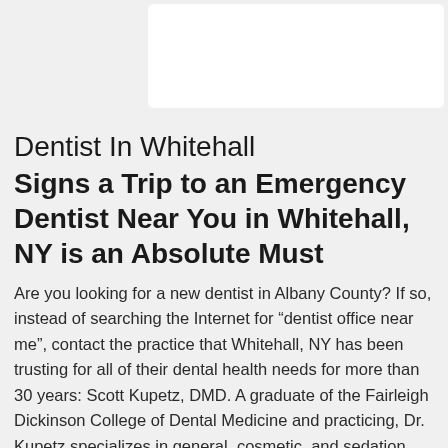[Figure (photo): White rounded rectangle image placeholder at top of page]
Dentist In Whitehall
Signs a Trip to an Emergency Dentist Near You in Whitehall, NY is an Absolute Must
Are you looking for a new dentist in Albany County? If so, instead of searching the Internet for “dentist office near me”, contact the practice that Whitehall, NY has been trusting for all of their dental health needs for more than 30 years: Scott Kupetz, DMD. A graduate of the Fairleigh Dickinson College of Dental Medicine and practicing, Dr. Kupetz specializes in general, cosmetic, and sedation dentistry, and has been serving the Albany County community since 1988. Caps, crowns, implants, composite feelings, teeth straightening and whitening, and more when it comes to improving your smile, you can count on Dr.